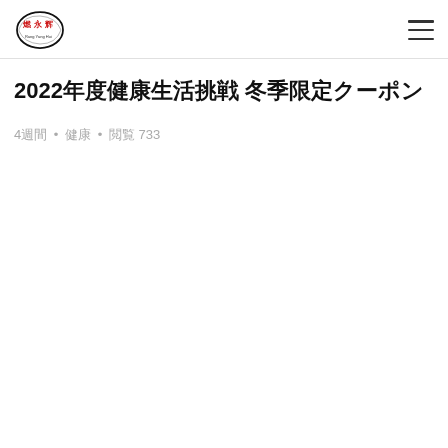Logo header with navigation menu
2022年度健康生活挑戦 冬季限定クーポン
4週間 • 健康 • 閲覧 733